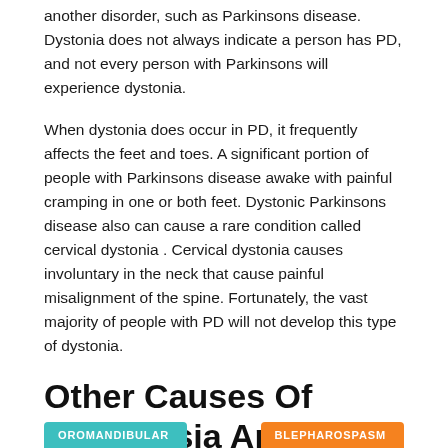another disorder, such as Parkinsons disease. Dystonia does not always indicate a person has PD, and not every person with Parkinsons will experience dystonia.
When dystonia does occur in PD, it frequently affects the feet and toes. A significant portion of people with Parkinsons disease awake with painful cramping in one or both feet. Dystonic Parkinsons disease also can cause a rare condition called cervical dystonia . Cervical dystonia causes involuntary in the neck that cause painful misalignment of the spine. Fortunately, the vast majority of people with PD will not develop this type of dystonia.
Other Causes Of Dyskinesia And Dystonia
OROMANDIBULAR
BLEPHAROSPASM